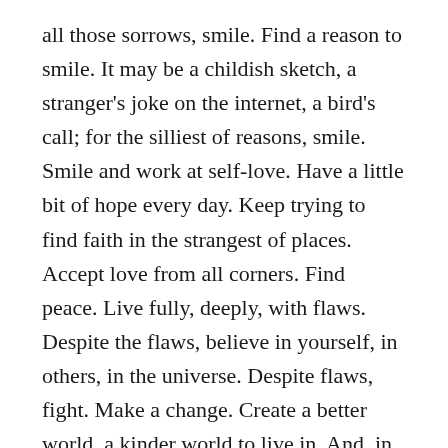all those sorrows, smile. Find a reason to smile. It may be a childish sketch, a stranger's joke on the internet, a bird's call; for the silliest of reasons, smile. Smile and work at self-love. Have a little bit of hope every day. Keep trying to find faith in the strangest of places. Accept love from all corners. Find peace. Live fully, deeply, with flaws. Despite the flaws, believe in yourself, in others, in the universe. Despite flaws, fight. Make a change. Create a better world, a kinder world to live in. And, in that place, in the changed world of your dreams, where your best hopes and faith are realised, be free.
[Figure (photo): A light grey background photo showing a thumb or hand gesture partially visible at the bottom center of the image, cropped at the page edge.]